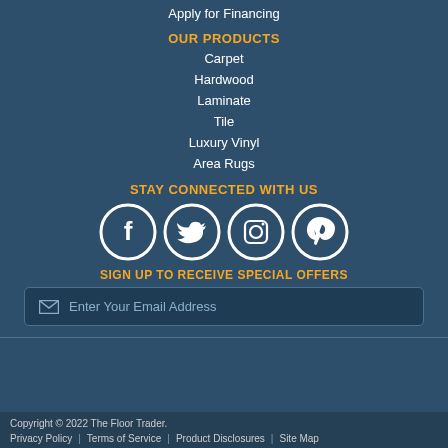Apply for Financing
OUR PRODUCTS
Carpet
Hardwood
Laminate
Tile
Luxury Vinyl
Area Rugs
STAY CONNECTED WITH US
[Figure (illustration): Social media icons: Facebook, Twitter, Instagram, Pinterest — white circle outlines on dark blue background]
SIGN UP TO RECEIVE SPECIAL OFFERS
Enter Your Email Address
Copyright © 2022 The Floor Trader. Privacy Policy | Terms of Service | Product Disclosures | Site Map